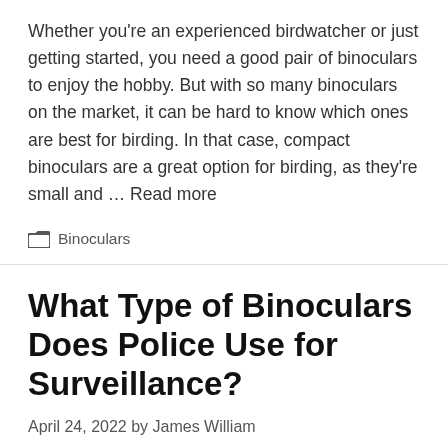Whether you're an experienced birdwatcher or just getting started, you need a good pair of binoculars to enjoy the hobby. But with so many binoculars on the market, it can be hard to know which ones are best for birding. In that case, compact binoculars are a great option for birding, as they're small and … Read more
Categories: Binoculars
What Type of Binoculars Does Police Use for Surveillance?
April 24, 2022 by James William